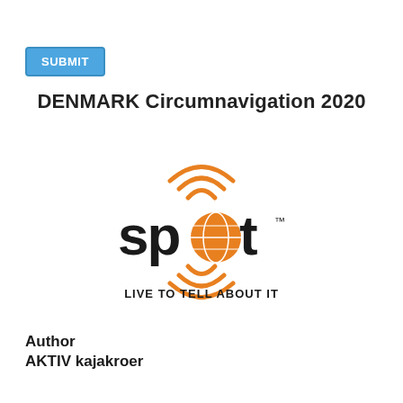SUBMIT
DENMARK Circumnavigation 2020
[Figure (logo): SPOT satellite tracker logo with orange globe and signal waves, tagline: LIVE TO TELL ABOUT IT]
Author
AKTIV kajakroer